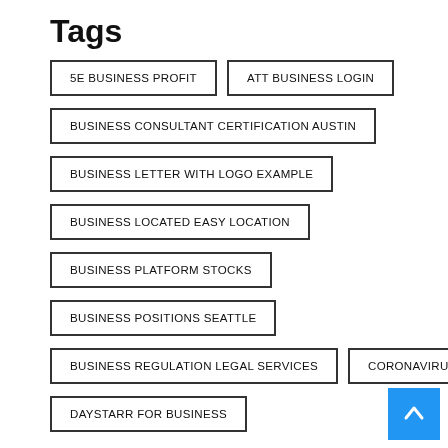Tags
5E BUSINESS PROFIT
ATT BUSINESS LOGIN
BUSINESS CONSULTANT CERTIFICATION AUSTIN
BUSINESS LETTER WITH LOGO EXAMPLE
BUSINESS LOCATED EASY LOCATION
BUSINESS PLATFORM STOCKS
BUSINESS POSITIONS SEATTLE
BUSINESS REGULATION LEGAL SERVICES
CORONAVIRUS
DAYSTARR FOR BUSINESS